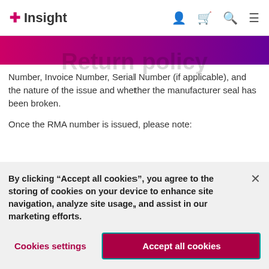Insight
Return policy
Number, Invoice Number, Serial Number (if applicable), and the nature of the issue and whether the manufacturer seal has been broken.
Once the RMA number is issued, please note:
By clicking “Accept all cookies”, you agree to the storing of cookies on your device to enhance site navigation, analyze site usage, and assist in our marketing efforts.
Cookies settings
Accept all cookies